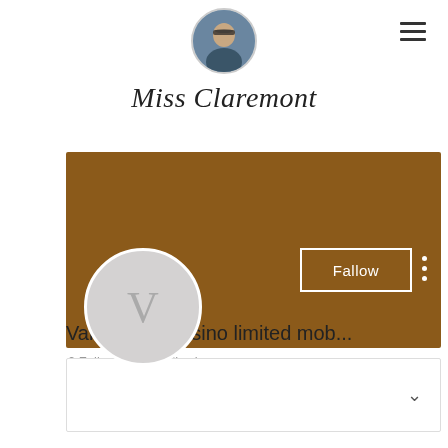[Figure (photo): Small circular profile avatar photo of a person wearing glasses at top center of page]
Miss Claremont
[Figure (screenshot): Brown banner/cover image for a profile page with a Follow button and three-dot menu. Below the banner is a large circular avatar with letter V, profile name 'Valley view casino limited mob...', and '0 Followers • 0 Following']
Valley view casino limited mob...
0 Followers • 0 Following
[Figure (screenshot): A white dropdown/selector box with a chevron/down arrow on the right side]